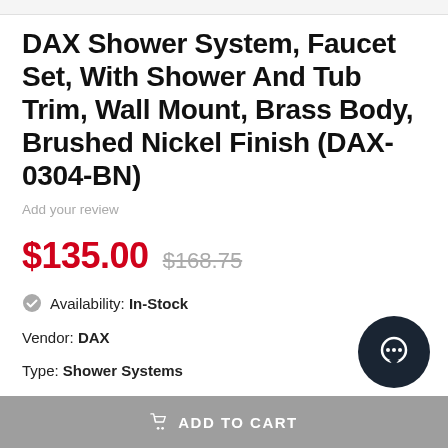DAX Shower System, Faucet Set, With Shower And Tub Trim, Wall Mount, Brass Body, Brushed Nickel Finish (DAX-0304-BN)
Add your review
$135.00  $168.75
Availability: In-Stock
Vendor: DAX
Type: Shower Systems
SKU: DAX-0304-BN
ADD TO CART